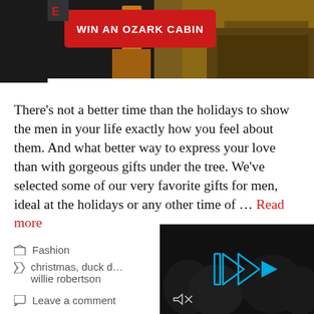[Figure (screenshot): Top dark banner with a red 'WIN AN OZARK CABIN' button advertisement and a cabin image on the right side]
There's not a better time than the holidays to show the men in your life exactly how you feel about them. And what better way to express your love than with gorgeous gifts under the tree. We've selected some of our very favorite gifts for men, ideal at the holidays or any other time of … Read more
Fashion
christmas, duck d… willie robertson
Leave a comment
[Figure (screenshot): Dark video overlay with blue forward/play icons and mute icon]